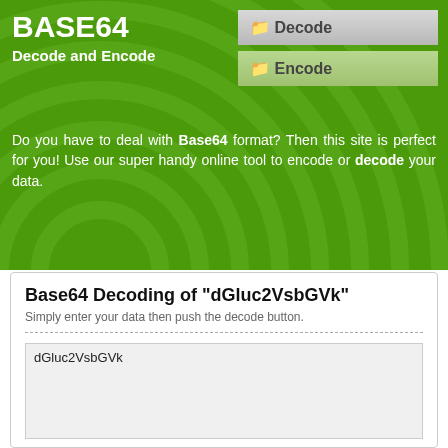BASE64
Decode and Encode
Do you have to deal with Base64 format? Then this site is perfect for you! Use our super handy online tool to encode or decode your data.
Base64 Decoding of "dGluc2VsbGVk"
Simply enter your data then push the decode button.
dGluc2VsbGVk